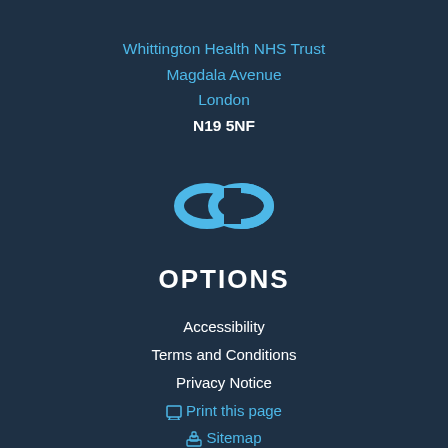Whittington Health NHS Trust
Magdala Avenue
London
N19 5NF
[Figure (logo): Two interlocking chain links icon in blue]
OPTIONS
Accessibility
Terms and Conditions
Privacy Notice
Print this page
Sitemap
[Figure (logo): Two social media icon boxes (Twitter and Facebook) with blue borders, partially visible at bottom]